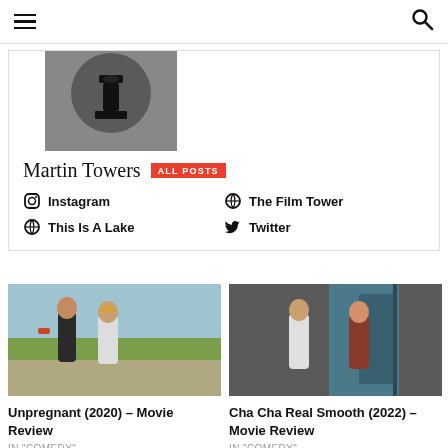≡  🔍
[Figure (photo): Author avatar: dark circular silhouette of a person (film reel/tower icon) on grey background]
Martin Towers  ALL POSTS
Instagram
The Film Tower
This Is A Lake
Twitter
[Figure (photo): Two young women walking outdoors, one holding a phone, casual clothing, sunny background]
Unpregnant (2020) – Movie Review
IN "COMEDY"
[Figure (photo): Two young men standing in a dimly lit room near a door, one facing the other]
Cha Cha Real Smooth (2022) – Movie Review
IN "COMEDY"